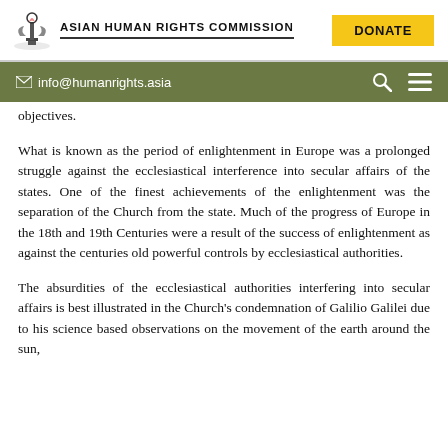Asian Human Rights Commission | DONATE
info@humanrights.asia
objectives.
What is known as the period of enlightenment in Europe was a prolonged struggle against the ecclesiastical interference into secular affairs of the states. One of the finest achievements of the enlightenment was the separation of the Church from the state. Much of the progress of Europe in the 18th and 19th Centuries were a result of the success of enlightenment as against the centuries old powerful controls by ecclesiastical authorities.
The absurdities of the ecclesiastical authorities interfering into secular affairs is best illustrated in the Church's condemnation of Galilio Galilei due to his science based observations on the movement of the earth around the sun,